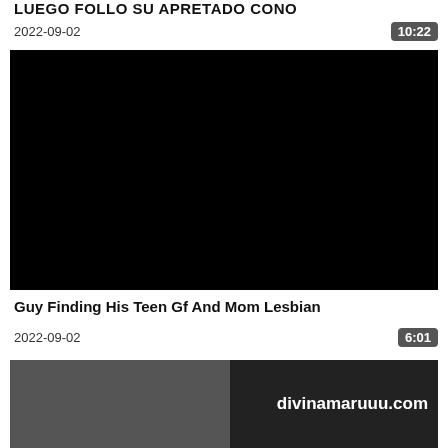LUEGO FOLLO SU APRETADO CONO
2022-09-02
10:22
[Figure (photo): Black video thumbnail placeholder]
Guy Finding His Teen Gf And Mom Lesbian
2022-09-02
6:01
[Figure (photo): Video thumbnail with woman and text overlay divinamaruuu.com]